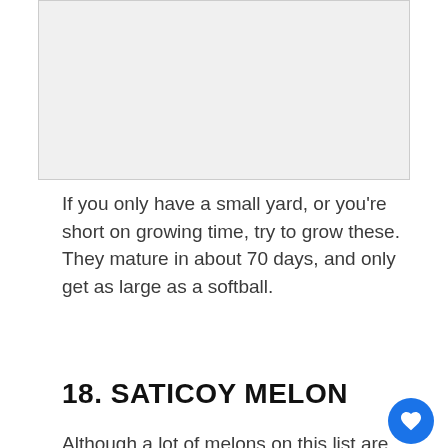[Figure (photo): Light gray placeholder image area at top of page]
If you only have a small yard, or you're short on growing time, try to grow these. They mature in about 70 days, and only get as large as a softball.
18. SATICOY MELON
Although a lot of melons on this list are heirlooms, the Saticoy was only cultivated in the mid 1980s. It was developed in California, and is a cantaloupe hybrid designed to thrive in drought-like